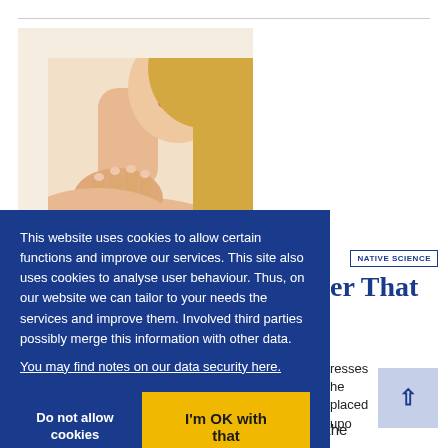[Figure (photo): Close-up photo of a blonde woman touching her neck/shoulder area]
This website uses cookies to allow certain functions and improve our services. This site also uses cookies to analyse user behaviour. Thus, on our website we can tailor to your needs the services and improve them. Involved third parties possibly merge this information with other data.
You may find notes on our data security here.
Do not allow cookies
I'm OK with that
NATIVE SCIENCE
er That
resses he placed upo
and how findings from quantum physics make the